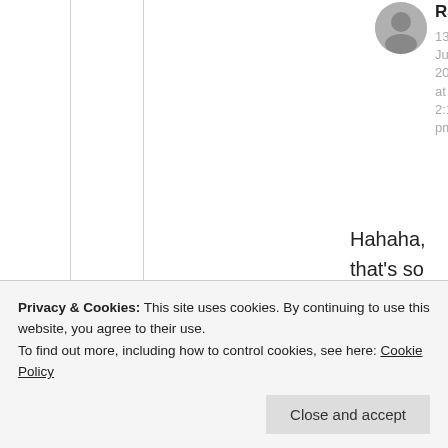[Figure (photo): Circular avatar photo of Rabia Akram, grayscale portrait]
Rabia Akram
13th Jun 2021 at 2:17 pm
Hahaha, that's so lovely @mildredprincewelch
★ Liked by 1 person
[Figure (logo): Circular golden avatar icon with abstract figure for mildredprince]
mildredprince
Mildred is my mother's
Privacy & Cookies: This site uses cookies. By continuing to use this website, you agree to their use.
To find out more, including how to control cookies, see here: Cookie Policy
Close and accept